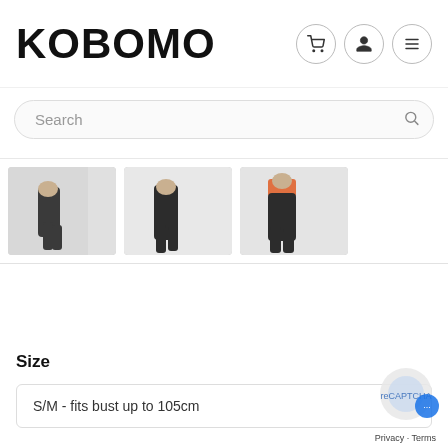KOBOMO
Search
[Figure (photo): Three thumbnail images of a person wearing dark yoga/dance pants, shown from waist down in different poses]
Size
S/M - fits bust up to 105cm